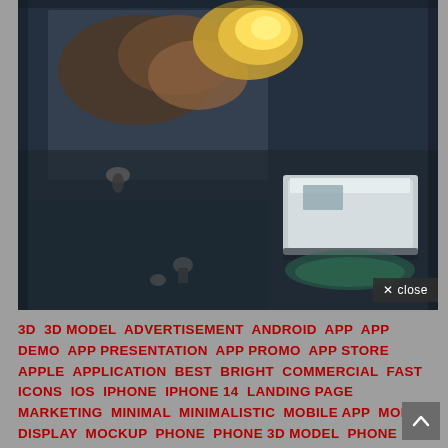[Figure (photo): Aerial view of vehicles and people on a dark road/surface, with a white truck visible on the right and figures on the left side, overhead surveillance-style shot]
X close
3D  3D MODEL  ADVERTISEMENT  ANDROID  APP  APP DEMO  APP PRESENTATION  APP PROMO  APP STORE  APPLE  APPLICATION  BEST  BRIGHT  COMMERCIAL  FAST  ICONS  IOS  IPHONE  IPHONE 14  LANDING PAGE  MARKETING  MINIMAL  MINIMALISTIC  MOBILE APP  MOBILE DISPLAY  MOCKUP  PHONE  PHONE 3D MODEL  PHONE TITLES  PRERENDER  PRESENTATION  PRO  PRODUCT  PRODUCT PROMO  RENDER  SHINE  SILVER  SMART  TEMPLATES  TRENDY  TYPOGRAPHY  UI  UX  VIP  WEB  WEB PROMO  WEBSITE  WHITE  ZONE